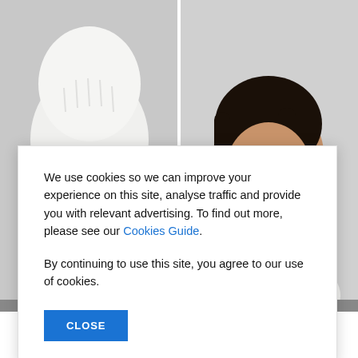[Figure (photo): Two male models side by side against a light grey background. Left model wears a white knitted balaclava/face covering and white jacket. Right model has dark hair and wears a white/cream shirt.]
We use cookies so we can improve your experience on this site, analyse traffic and provide you with relevant advertising. To find out more, please see our Cookies Guide.

By continuing to use this site, you agree to our use of cookies.
CLOSE